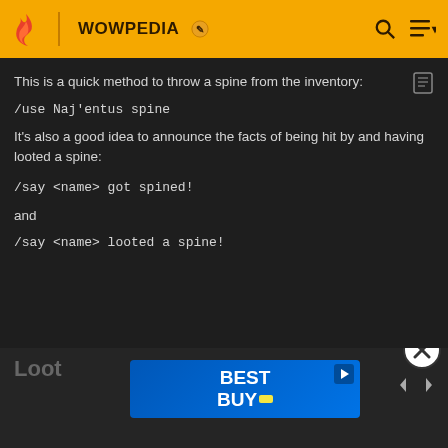WOWPEDIA
This is a quick method to throw a spine from the inventory:
It's also a good idea to announce the facts of being hit by and having looted a spine:
and
Loot
[Figure (screenshot): Best Buy advertisement banner with blue gradient background and white bold BEST BUY text with yellow tag logo]
Loot